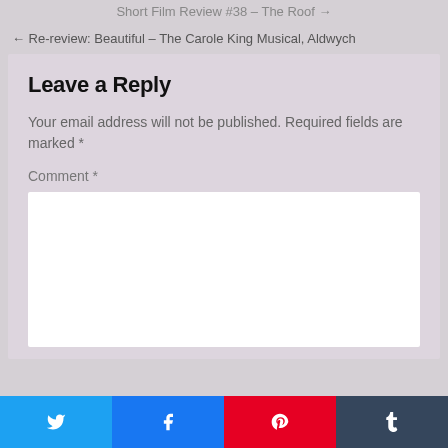Short Film Review #38 – The Roof
← Re-review: Beautiful – The Carole King Musical, Aldwych
Leave a Reply
Your email address will not be published. Required fields are marked *
Comment *